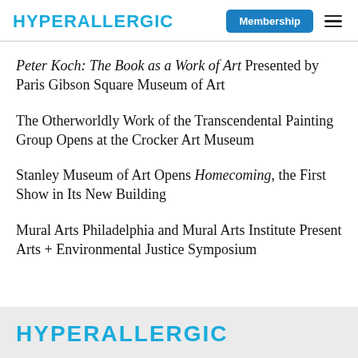HYPERALLERGIC
Peter Koch: The Book as a Work of Art Presented by Paris Gibson Square Museum of Art
The Otherworldly Work of the Transcendental Painting Group Opens at the Crocker Art Museum
Stanley Museum of Art Opens Homecoming, the First Show in Its New Building
Mural Arts Philadelphia and Mural Arts Institute Present Arts + Environmental Justice Symposium
HYPERALLERGIC